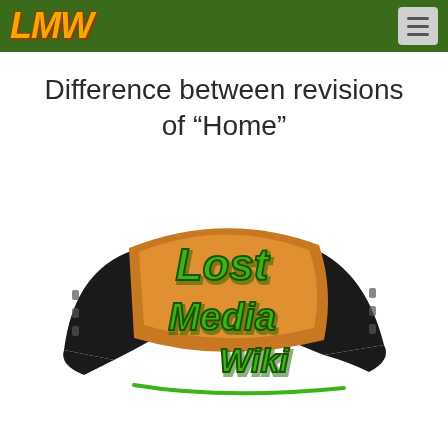LMW [logo] [hamburger menu]
Difference between revisions of “Home”
[Figure (logo): Lost Media Wiki logo: stylized film strip wings with 'Lost Media Wiki' text in green 3D lettering on brown/gold background]